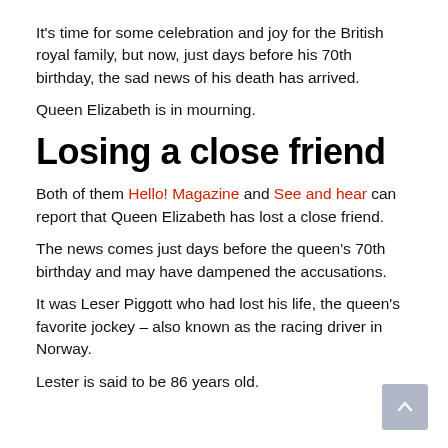It's time for some celebration and joy for the British royal family, but now, just days before his 70th birthday, the sad news of his death has arrived.
Queen Elizabeth is in mourning.
Losing a close friend
Both of them Hello! Magazine and See and hear can report that Queen Elizabeth has lost a close friend.
The news comes just days before the queen's 70th birthday and may have dampened the accusations.
It was Leser Piggott who had lost his life, the queen's favorite jockey – also known as the racing driver in Norway.
Lester is said to be 86 years old.